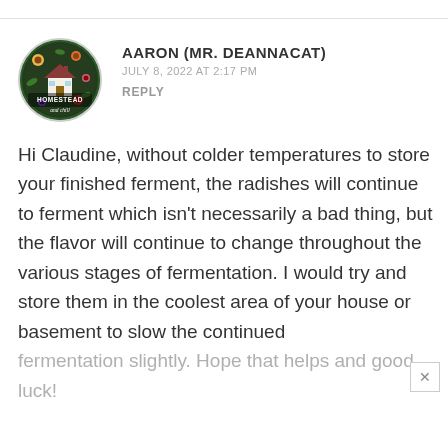[Figure (logo): Circular logo for Homestead and Chill blog with floral decoration and a small house illustration]
AARON (MR. DEANNACAT)
JULY 8, 2022 AT 2:17 PM
REPLY
Hi Claudine, without colder temperatures to store your finished ferment, the radishes will continue to ferment which isn't necessarily a bad thing, but the flavor will continue to change throughout the various stages of fermentation. I would try and store them in the coolest area of your house or basement to slow the continued fermentation slightly. Hope that helps and good luck!